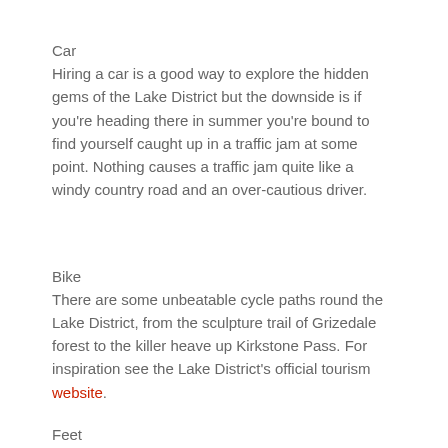Car
Hiring a car is a good way to explore the hidden gems of the Lake District but the downside is if you're heading there in summer you're bound to find yourself caught up in a traffic jam at some point. Nothing causes a traffic jam quite like a windy country road and an over-cautious driver.
Bike
There are some unbeatable cycle paths round the Lake District, from the sculpture trail of Grizedale forest to the killer heave up Kirkstone Pass. For inspiration see the Lake District's official tourism website.
Feet
Of course the best way to to explore the Lake District is on foot, so grab some boots, a waterproof and a map and get hiking.